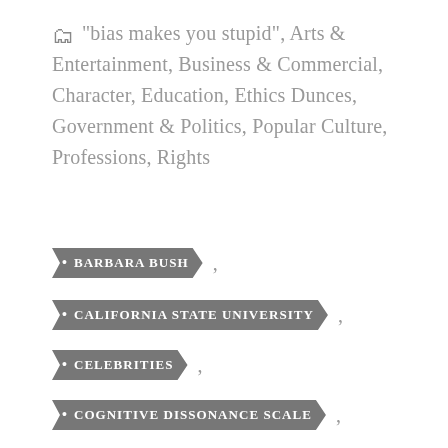"bias makes you stupid", Arts & Entertainment, Business & Commercial, Character, Education, Ethics Dunces, Government & Politics, Popular Culture, Professions, Rights
BARBARA BUSH ,
CALIFORNIA STATE UNIVERSITY ,
CELEBRITIES ,
COGNITIVE DISSONANCE SCALE ,
CRUELTY , CULTURE ,